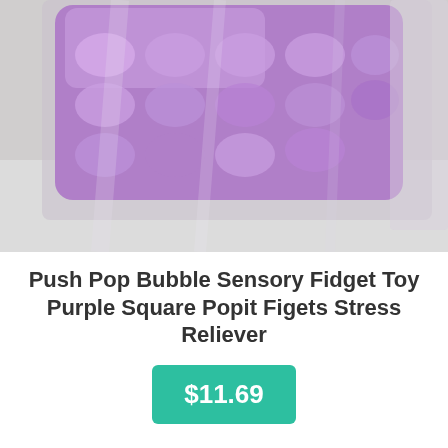[Figure (photo): A purple square pop-it fidget toy in clear plastic packaging, photographed on a light grey/white surface. The toy is purple silicone with round bubble domes arranged in a grid pattern.]
Push Pop Bubble Sensory Fidget Toy Purple Square Popit Figets Stress Reliever
$11.69